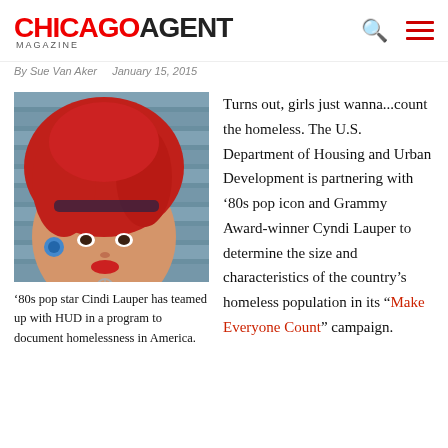CHICAGO AGENT MAGAZINE
By Sue Van Aker   January 15, 2015
[Figure (photo): Photo of Cyndi Lauper with bright red hair, wearing 80s-style accessories and a peace sign necklace]
'80s pop star Cindi Lauper has teamed up with HUD in a program to document homelessness in America.
Turns out, girls just wanna...count the homeless. The U.S. Department of Housing and Urban Development is partnering with '80s pop icon and Grammy Award-winner Cyndi Lauper to determine the size and characteristics of the country's homeless population in its “Make Everyone Count” campaign.